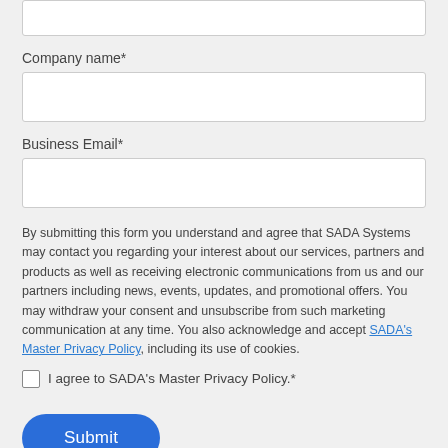Company name*
Business Email*
By submitting this form you understand and agree that SADA Systems may contact you regarding your interest about our services, partners and products as well as receiving electronic communications from us and our partners including news, events, updates, and promotional offers. You may withdraw your consent and unsubscribe from such marketing communication at any time. You also acknowledge and accept SADA's Master Privacy Policy, including its use of cookies.
I agree to SADA's Master Privacy Policy.*
Submit